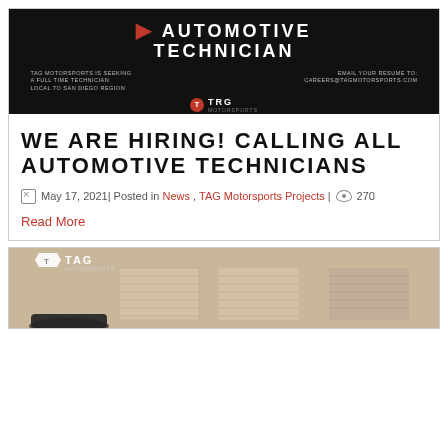[Figure (photo): TAG Motorsports hiring advertisement for Automotive Technician on black background with red accent graphics]
WE ARE HIRING! CALLING ALL AUTOMOTIVE TECHNICIANS
May 17, 2021| Posted in News, TAG Motorsports Projects| 270
Read More
[Figure (photo): TAG Motorsports building exterior with logo, garage doors visible]